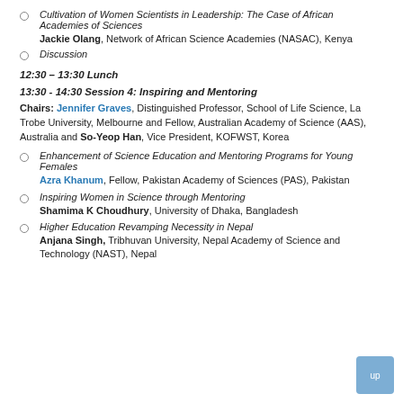Cultivation of Women Scientists in Leadership: The Case of African Academies of Sciences
Jackie Olang, Network of African Science Academies (NASAC), Kenya
Discussion
12:30 – 13:30 Lunch
13:30 - 14:30 Session 4: Inspiring and Mentoring
Chairs: Jennifer Graves, Distinguished Professor, School of Life Science, La Trobe University, Melbourne and Fellow, Australian Academy of Science (AAS), Australia and So-Yeop Han, Vice President, KOFWST, Korea
Enhancement of Science Education and Mentoring Programs for Young Females
Azra Khanum, Fellow, Pakistan Academy of Sciences (PAS), Pakistan
Inspiring Women in Science through Mentoring
Shamima K Choudhury, University of Dhaka, Bangladesh
Higher Education Revamping Necessity in Nepal
Anjana Singh, Tribhuvan University, Nepal Academy of Sciences and Technology (NAST), Nepal